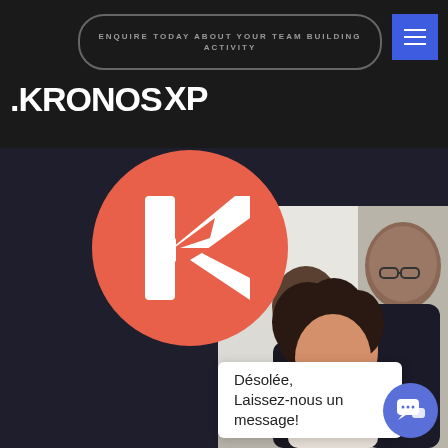ENQUIRE TODAY ABOUT YOUR TEAM BUILDING ACTIVITY
[Figure (logo): Kronos XP logo — white bold text '.KRONOS' with 'XP' badge on dark background]
[Figure (photo): Team of people smiling and laughing in a casual/workshop setting]
[Figure (logo): Kronos XP round icon — salmon/coral circle with white K lettermark]
Désolée,
Laissez-nous un message!